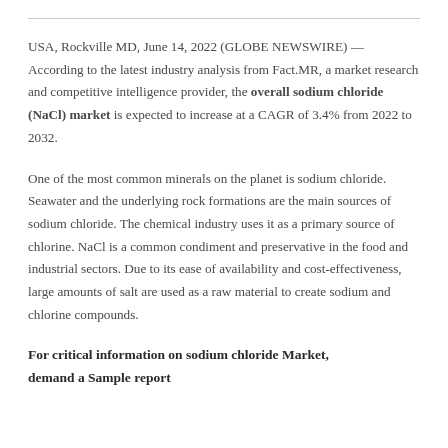USA, Rockville MD, June 14, 2022 (GLOBE NEWSWIRE) — According to the latest industry analysis from Fact.MR, a market research and competitive intelligence provider, the overall sodium chloride (NaCl) market is expected to increase at a CAGR of 3.4% from 2022 to 2032.
One of the most common minerals on the planet is sodium chloride. Seawater and the underlying rock formations are the main sources of sodium chloride. The chemical industry uses it as a primary source of chlorine. NaCl is a common condiment and preservative in the food and industrial sectors. Due to its ease of availability and cost-effectiveness, large amounts of salt are used as a raw material to create sodium and chlorine compounds.
For critical information on sodium chloride Market, demand a Sample report